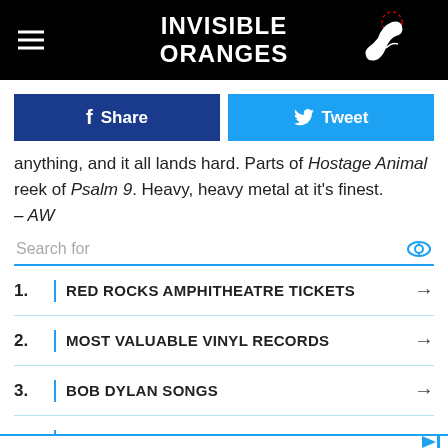INVISIBLE ORANGES
anything, and it all lands hard. Parts of Hostage Animal reek of Psalm 9. Heavy, heavy metal at it's finest.
– AW
1. RED ROCKS AMPHITHEATRE TICKETS
2. MOST VALUABLE VINYL RECORDS
3. BOB DYLAN SONGS
4. UPCOMING CONCERTS IN 2022